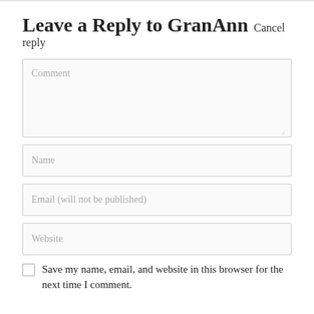Leave a Reply to GranAnn Cancel reply
Comment
Name
Email (will not be published)
Website
Save my name, email, and website in this browser for the next time I comment.